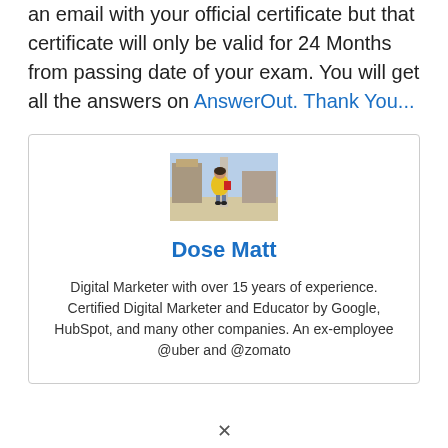an email with your official certificate but that certificate will only be valid for 24 Months from passing date of your exam. You will get all the answers on AnswerOut. Thank You...
[Figure (photo): Photo of a person in a yellow jacket holding a red book, standing outdoors near buildings]
Dose Matt
Digital Marketer with over 15 years of experience. Certified Digital Marketer and Educator by Google, HubSpot, and many other companies. An ex-employee @uber and @zomato